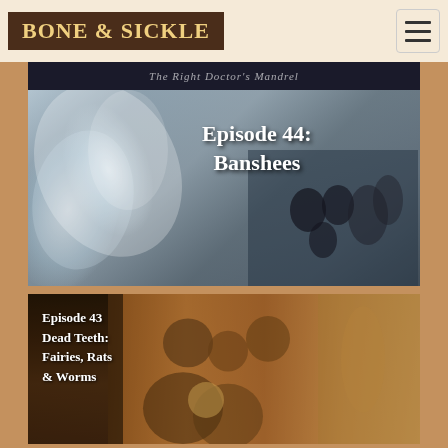BONE & SICKLE
[Figure (screenshot): Episode 44: Banshees podcast cover image - ethereal ghostly figures in blue-grey tones with a family portrait, text reads 'Episode 44: Banshees']
[Figure (screenshot): Episode 43 Dead Teeth: Fairies, Rats & Worms podcast cover image - dark painting of men at a table with laughing figures]